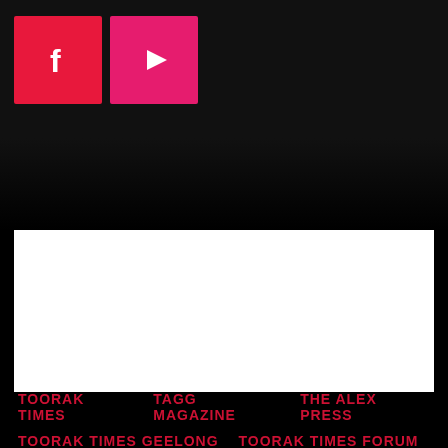[Figure (logo): Facebook icon — white F on red/crimson square background]
[Figure (logo): YouTube play button icon — white triangle on pink/magenta square background]
CONTRIBUTOR LOGIN   PRIVACY POLICY   ABOUT US
TOORAK TIMES   TAGG MAGAZINE   THE ALEX PRESS   TOORAK TIMES GEELONG   TOORAK TIMES FORUM